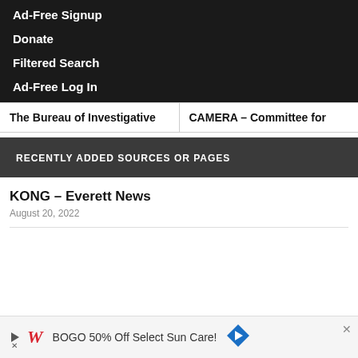Ad-Free Signup
Donate
Filtered Search
Ad-Free Log In
The Bureau of Investigative
CAMERA – Committee for
RECENTLY ADDED SOURCES OR PAGES
KONG – Everett News
August 20, 2022
[Figure (screenshot): Advertisement banner: Walgreens BOGO 50% Off Select Sun Care with navigation arrow icon]